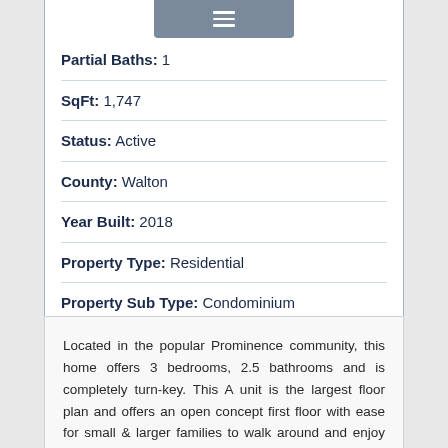Partial Baths: 1
SqFt: 1,747
Status: Active
County: Walton
Year Built: 2018
Property Type: Residential
Property Sub Type: Condominium
Located in the popular Prominence community, this home offers 3 bedrooms, 2.5 bathrooms and is completely turn-key. This A unit is the largest floor plan and offers an open concept first floor with ease for small & larger families to walk around and enjoy the space. Three bedrooms are on the second floor & offers a large primary bedroom and bath, 2 add'l bedrooms and full tub/shower bath. Enjoy morning coffee or afternoon drinks on the double deck or simply have a safe space for kids and teens to hang out. Beautiful Resort Style Pool is complete with grills, Deer